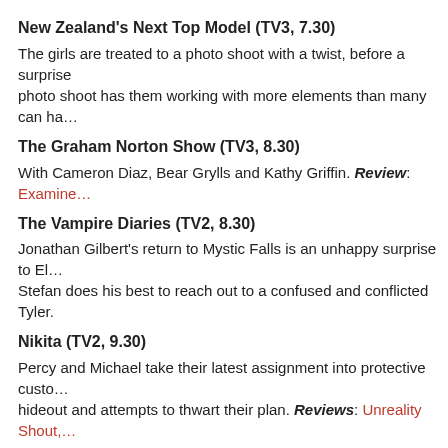New Zealand's Next Top Model (TV3, 7.30)
The girls are treated to a photo shoot with a twist, before a surprise photo shoot has them working with more elements than many can ha…
The Graham Norton Show (TV3, 8.30)
With Cameron Diaz, Bear Grylls and Kathy Griffin. Review: Examine…
The Vampire Diaries (TV2, 8.30)
Jonathan Gilbert's return to Mystic Falls is an unhappy surprise to El… Stefan does his best to reach out to a confused and conflicted Tyler.
Nikita (TV2, 9.30)
Percy and Michael take their latest assignment into protective custo… hideout and attempts to thwart their plan. Reviews: Unreality Shout,…
Supernatural (TV2, 10.30)
Investigating a case of Biblical plagues, Sam and Dean call Castiel f… God's weapons have been stolen. Reviews: ScreenRant, Pop Cultu…
CSI: New York (TV3, 12.10, 5.1, R)